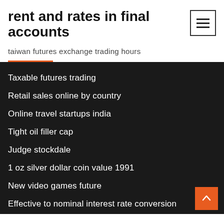rent and rates in final accounts
taiwan futures exchange trading hours
Taxable futures trading
Retail sales online by country
Online travel startups india
Tight oil filler cap
Judge stockdale
1 oz silver dollar coin value 1991
New video games future
Effective to nominal interest rate conversion
Usd bgn exchange rate бнб